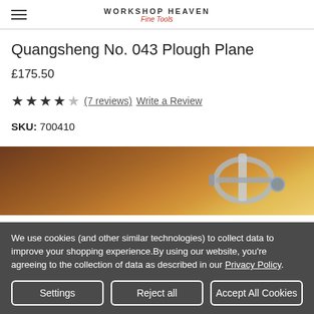WORKSHOP HEAVEN Fine Tools
Quangsheng No. 043 Plough Plane
£175.50
★★★★☆ (7 reviews)  Write a Review
SKU: 700410
[Figure (photo): Close-up photo of a Quangsheng No. 043 Plough Plane showing metal handles and wood grain background]
We use cookies (and other similar technologies) to collect data to improve your shopping experience.By using our website, you're agreeing to the collection of data as described in our Privacy Policy.
Settings  Reject all  Accept All Cookies